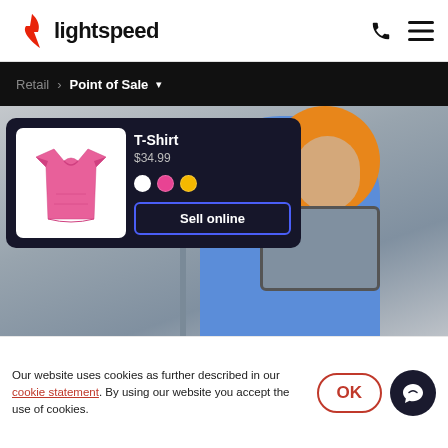[Figure (logo): Lightspeed logo: red flame icon and 'lightspeed' wordmark in black]
[Figure (screenshot): Navigation bar showing breadcrumb: Retail > Point of Sale with dropdown arrow, on black background]
[Figure (screenshot): Hero product card overlay on photo background. Card shows pink T-Shirt at $34.99 with white, pink, yellow color swatches and 'Sell online' button. Background shows woman with orange hair wearing blue shirt, holding a tablet.]
Our website uses cookies as further described in our cookie statement. By using our website you accept the use of cookies.